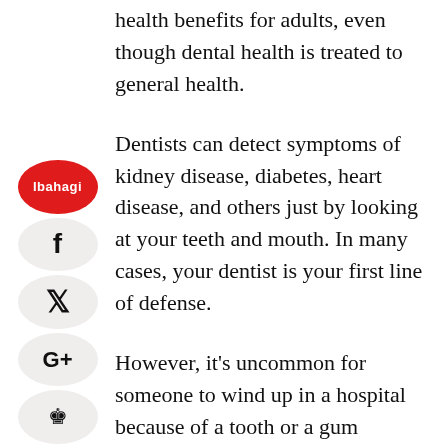health benefits for adults, even though dental health is treated to general health.
Dentists can detect symptoms of kidney disease, diabetes, heart disease, and others just by looking at your teeth and mouth. In many cases, your dentist is your first line of defense.
However, it's uncommon for someone to wind up in a hospital because of a tooth or a gum problem, if the person keeps up with his/her preventative dental care.